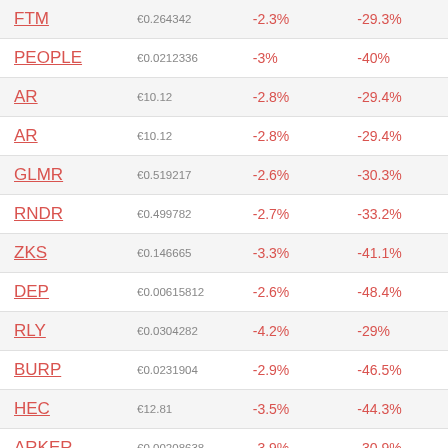| Ticker | Price | 24h Change | 7d Change |
| --- | --- | --- | --- |
| FTM | €0.264342 | -2.3% | -29.3% |
| PEOPLE | €0.0212336 | -3% | -40% |
| AR | €10.12 | -2.8% | -29.4% |
| AR | €10.12 | -2.8% | -29.4% |
| GLMR | €0.519217 | -2.6% | -30.3% |
| RNDR | €0.499782 | -2.7% | -33.2% |
| ZKS | €0.146665 | -3.3% | -41.1% |
| DEP | €0.00615812 | -2.6% | -48.4% |
| RLY | €0.0304282 | -4.2% | -29% |
| BURP | €0.0231904 | -2.9% | -46.5% |
| HEC | €12.81 | -3.5% | -44.3% |
| ARKER | €0.00208638 | -3.9% | -30.9% |